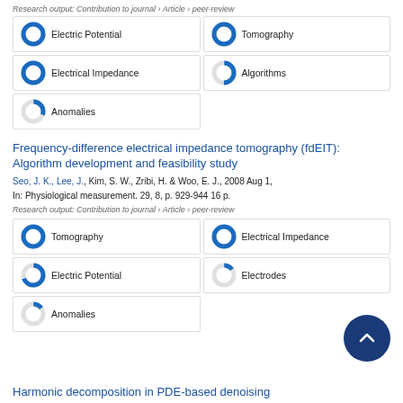Research output: Contribution to journal › Article › peer-review
[Figure (infographic): Five keyword badges with donut/pie icons indicating percentage: Electric Potential 100%, Tomography 100%, Electrical Impedance 100%, Algorithms ~50%, Anomalies ~30%]
Frequency-difference electrical impedance tomography (fdEIT): Algorithm development and feasibility study
Seo, J. K., Lee, J., Kim, S. W., Zribi, H. & Woo, E. J., 2008 Aug 1, In: Physiological measurement. 29, 8, p. 929-944 16 p.
Research output: Contribution to journal › Article › peer-review
[Figure (infographic): Five keyword badges with donut/pie icons indicating percentage: Tomography 100%, Electrical Impedance 100%, Electric Potential ~70%, Electrodes ~15%, Anomalies ~15%]
Harmonic decomposition in PDE-based denoising